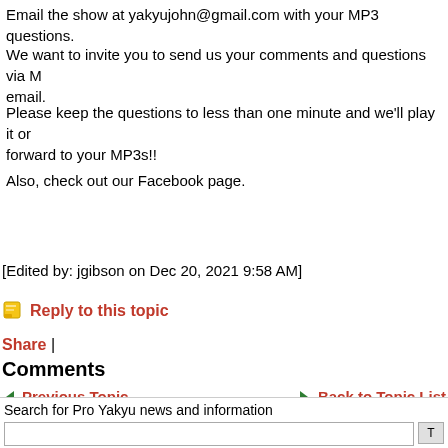Email the show at yakyujohn@gmail.com with your MP3 questions.
We want to invite you to send us your comments and questions via M email.
Please keep the questions to less than one minute and we'll play it or forward to your MP3s!!
Also, check out our Facebook page.
[Edited by: jgibson on Dec 20, 2021 9:58 AM]
Reply to this topic
Share |
Comments
◄ Previous Topic    Back to Topic List
Search for Pro Yakyu news and information